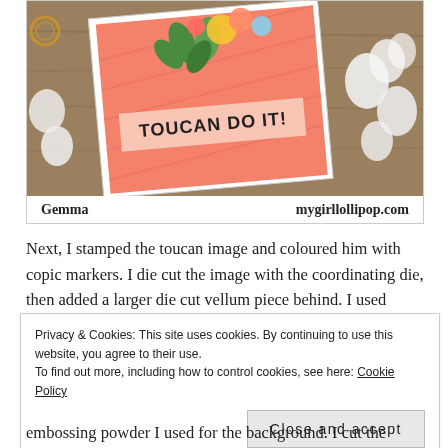[Figure (photo): Photo of a handmade craft card with salmon/coral background reading 'TOUCAN DO IT!' with floral decorations, on a wooden surface with white flowers. Caption shows 'Gemma' and 'mygirllollipop.com']
Next, I stamped the toucan image and coloured him with copic markers. I die cut the image with the coordinating die, then added a larger die cut vellum piece behind. I used
Privacy & Cookies: This site uses cookies. By continuing to use this website, you agree to their use.
To find out more, including how to control cookies, see here: Cookie Policy
Close and accept
embossing powder I used for the background. I cut the